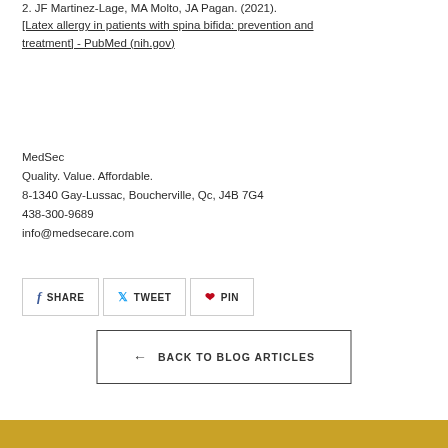2. JF Martinez-Lage, MA Molto, JA Pagan. (2021). [Latex allergy in patients with spina bifida: prevention and treatment] - PubMed (nih.gov)
MedSec
Quality. Value. Affordable.
8-1340 Gay-Lussac, Boucherville, Qc, J4B 7G4
438-300-9689
info@medsecare.com
[Figure (other): Social share buttons: SHARE (Facebook), TWEET (Twitter), PIN (Pinterest)]
← BACK TO BLOG ARTICLES
[Figure (other): Gold/mustard colored footer bar at the bottom of the page]